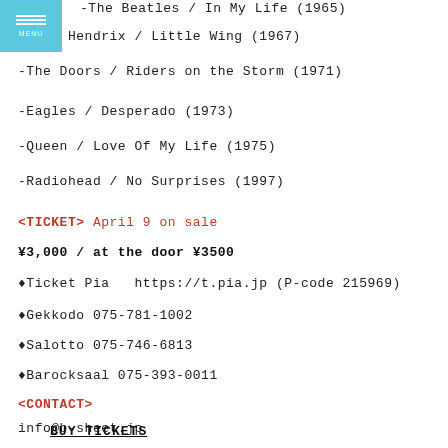-The Beatles / In My Life (1965)
-Jimi Hendrix / Little Wing (1967)
-The Doors / Riders on the Storm (1971)
-Eagles / Desperado (1973)
-Queen / Love Of My Life (1975)
-Radiohead / No Surprises (1997)
<TICKET> April 9 on sale
¥3,000 / at the door ¥3500
♦Ticket Pia  https://t.pia.jp (P-code 215969)
♦Gekkodo 075-781-1002
♦Salotto 075-746-6813
♦Barocksaal 075-393-0011
<CONTACT>
info@b-sheet.jp
BUY TICKETS